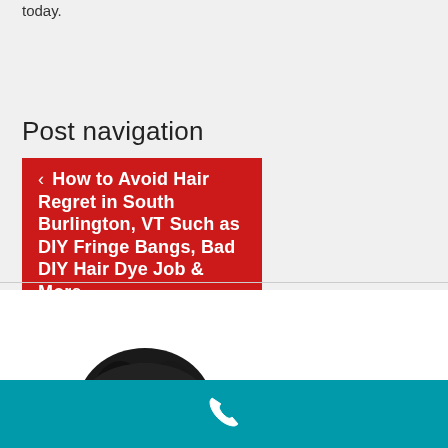today.
Post navigation
‹ How to Avoid Hair Regret in South Burlington, VT Such as DIY Fringe Bangs, Bad DIY Hair Dye Job & More
[Figure (photo): Partial view of a person's dark hair, cropped at the top of the frame, against a white background]
[Figure (infographic): Teal/cyan colored bar at the bottom of the page with a white phone icon in the center]